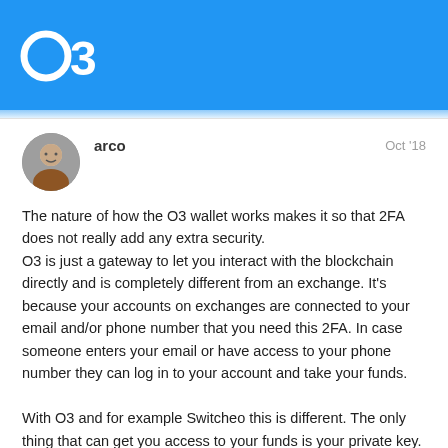[Figure (logo): O3 logo in white on blue background header]
arco
Oct '18
The nature of how the O3 wallet works makes it so that 2FA does not really add any extra security.
O3 is just a gateway to let you interact with the blockchain directly and is completely different from an exchange. It's because your accounts on exchanges are connected to your email and/or phone number that you need this 2FA. In case someone enters your email or have access to your phone number they can log in to your account and take your funds.

With O3 and for example Switcheo this is different. The only thing that can get you access to your funds is your private key. There's a very minimal chance that anyone gets your private key because the only place you would use it is when you switch to a new device. It's not stored in your ema your phone number. Maybe you would use
1 / 5